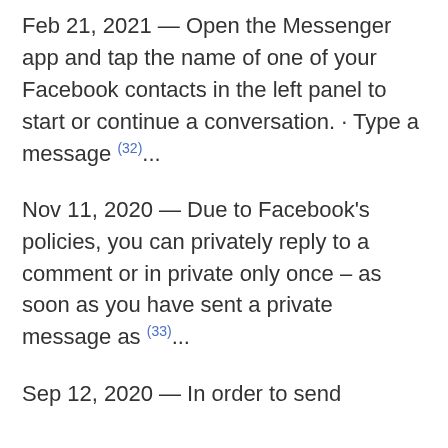Feb 21, 2021 — Open the Messenger app and tap the name of one of your Facebook contacts in the left panel to start or continue a conversation. · Type a message (32)...
Nov 11, 2020 — Due to Facebook's policies, you can privately reply to a comment or in private only once – as soon as you have sent a private message as (33)...
Sep 12, 2020 — In order to send